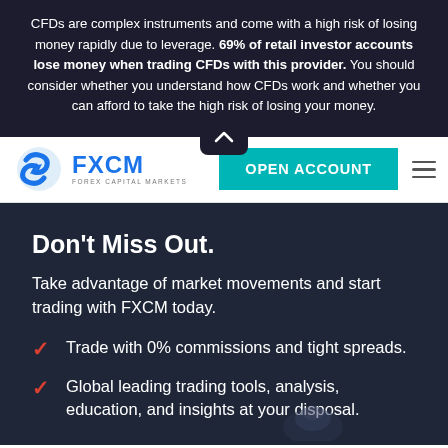CFDs are complex instruments and come with a high risk of losing money rapidly due to leverage. 69% of retail investor accounts lose money when trading CFDs with this provider. You should consider whether you understand how CFDs work and whether you can afford to take the high risk of losing your money.
[Figure (logo): FXCM Forex Capital Markets logo with blue swirl icon]
[Figure (screenshot): OPEN ACCOUNT teal button in navigation bar]
Don't Miss Out.
Take advantage of market movements and start trading with FXCM today.
Trade with 0% commissions and tight spreads.
Global leading trading tools, analysis, education, and insights at your disposal.